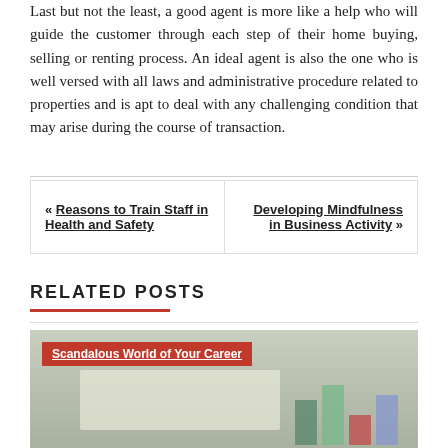Last but not the least, a good agent is more like a help who will guide the customer through each step of their home buying, selling or renting process. An ideal agent is also the one who is well versed with all laws and administrative procedure related to properties and is apt to deal with any challenging condition that may arise during the course of transaction.
« Reasons to Train Staff in Health and Safety
Developing Mindfulness in Business Activity »
RELATED POSTS
[Figure (photo): Blurred background image with a red label overlay reading 'Scandalous World of Your Career']
Scandalous World of Your Career